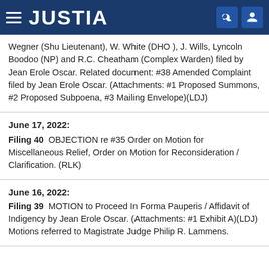JUSTIA
Wegner (Shu Lieutenant), W. White (DHO ), J. Wills, Lyncoln Boodoo (NP) and R.C. Cheatham (Complex Warden) filed by Jean Erole Oscar. Related document: #38 Amended Complaint filed by Jean Erole Oscar. (Attachments: #1 Proposed Summons, #2 Proposed Subpoena, #3 Mailing Envelope)(LDJ)
June 17, 2022: Filing 40 OBJECTION re #35 Order on Motion for Miscellaneous Relief, Order on Motion for Reconsideration / Clarification. (RLK)
June 16, 2022: Filing 39 MOTION to Proceed In Forma Pauperis / Affidavit of Indigency by Jean Erole Oscar. (Attachments: #1 Exhibit A)(LDJ) Motions referred to Magistrate Judge Philip R. Lammens.